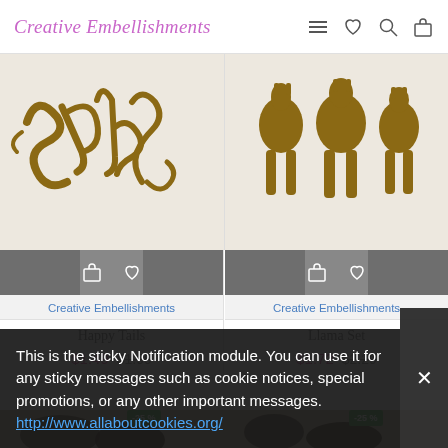Creative Embellishments
[Figure (photo): Product image of Happy Tails wooden chipboard — cursive 'tails' text with decorative tails]
[Figure (photo): Product image of Llama Set wooden chipboard — three llamas silhouettes]
Creative Embellishments
Happy Tails
$1.49  $1.99
Creative Embellishments
Llama Set
$1.72  $2.29
[Figure (photo): Partial product image at bottom left, dark silhouette craft item]
[Figure (photo): Partial product image at bottom right, dark silhouette craft item]
This is the sticky Notification module. You can use it for any sticky messages such as cookie notices, special promotions, or any other important messages. http://www.allaboutcookies.org/